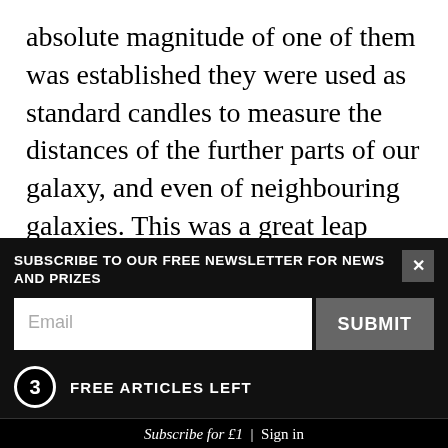absolute magnitude of one of them was established they were used as standard candles to measure the distances of the further parts of our galaxy, and even of neighbouring galaxies. This was a great leap forward, for annual parallaxes, which use the diameter of the Earth's orbit as their baseline, are feasible only out to about 30 parsecs (100 light years) which is small compared to the diameter of our galaxy, which is about 40,000 parsecs.
One of the jobs of the Hubble telescope is to observe
SUBSCRIBE TO OUR FREE NEWSLETTER FOR NEWS AND PRIZES
Email
SUBMIT
3 FREE ARTICLES LEFT
Subscribe for £1 | Sign in